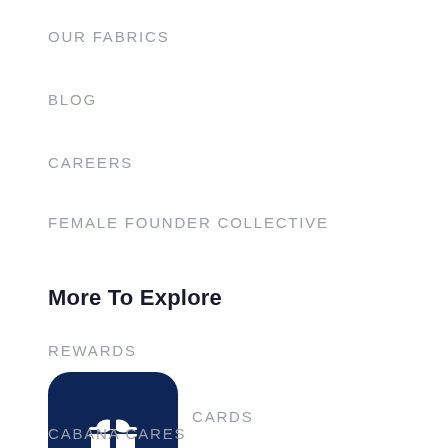OUR FABRICS
BLOG
CAREERS
FEMALE FOUNDER COLLECTIVE
More To Explore
REWARDS
[Figure (illustration): Dark navy blue rounded square icon with a white gift box symbol]
GIFT CARDS
CABANA CARES